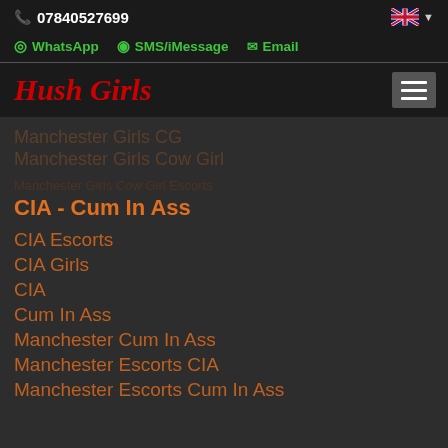07840527699
WhatsApp  SMS/iMessage  Email
Hush Girls
Manchester Girls CG
Manchester Girls Cow Girl
CIA - Cum In Ass
CIA Escorts
CIA Girls
CIA
Cum In Ass
Manchester Cum In Ass
Manchester Escorts CIA
Manchester Escorts Cum In Ass